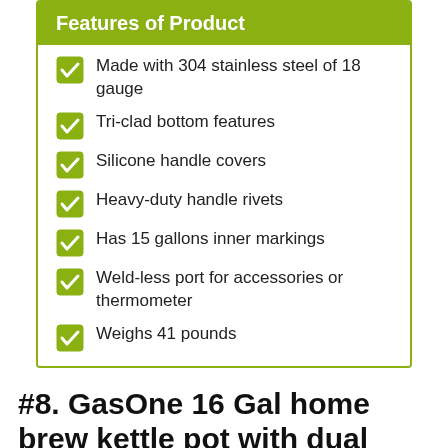Features of Product
Made with 304 stainless steel of 18 gauge
Tri-clad bottom features
Silicone handle covers
Heavy-duty handle rivets
Has 15 gallons inner markings
Weld-less port for accessories or thermometer
Weighs 41 pounds
#8. GasOne 16 Gal home brew kettle pot with dual filtration
[Figure (photo): Top-down view of a shiny stainless steel kettle pot lid with dual filtration elements visible]